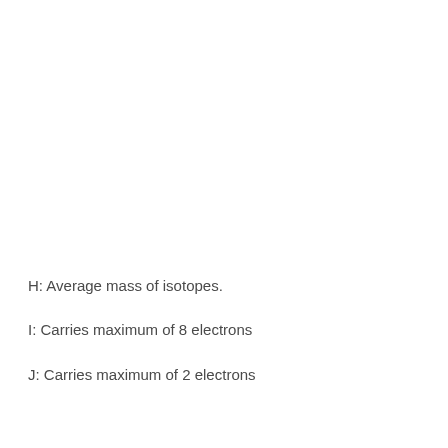H: Average mass of isotopes.
I: Carries maximum of 8 electrons
J: Carries maximum of 2 electrons